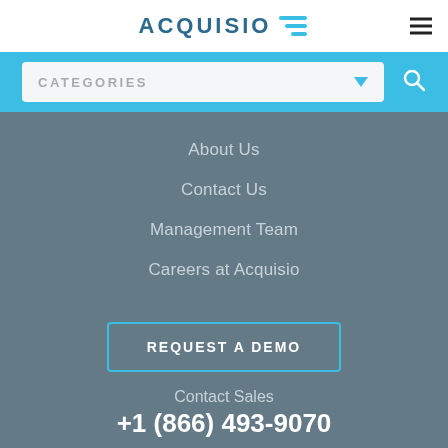ACQUISIO
About Us
Contact Us
Management Team
Careers at Acquisio
REQUEST A DEMO
Contact Sales
+1 (866) 493-9070